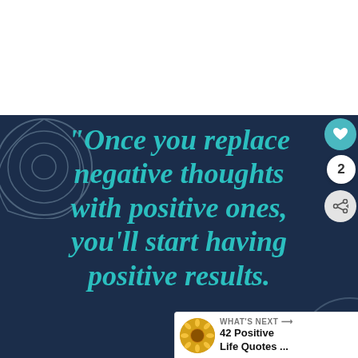[Figure (illustration): Motivational quote image on dark navy background with teal/turquoise text reading: "Once you replace negative thoughts with positive ones, you'll start having positive results." with decorative swirl circles on the left side, a heart button, like count of 2, share button, and a 'What's Next' banner showing '42 Positive Life Quotes...' with a sunflower thumbnail.]